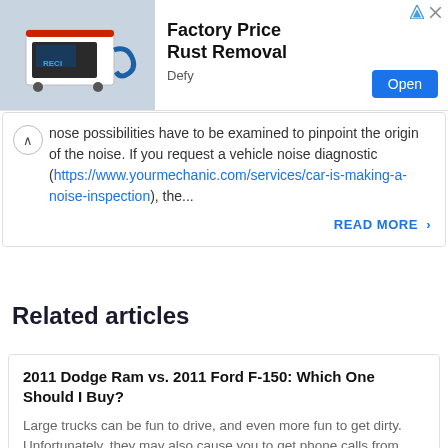[Figure (photo): Advertisement banner showing a machine for rust removal (Factory Price Rust Removal by Defy) with an Open button]
nose possibilities have to be examined to pinpoint the origin of the noise. If you request a vehicle noise diagnostic (https://www.yourmechanic.com/services/car-is-making-a-noise-inspection), the...
READ MORE ›
Related articles
2011 Dodge Ram vs. 2011 Ford F-150: Which One Should I Buy?
Large trucks can be fun to drive, and even more fun to get dirty. Unfortunately, they may also cause you to get phone calls from friends who need to move into a